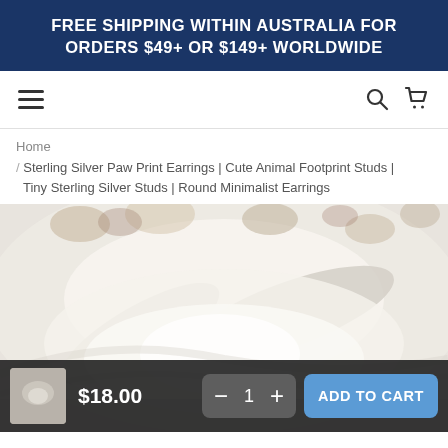FREE SHIPPING WITHIN AUSTRALIA FOR ORDERS $49+ OR $149+ WORLDWIDE
Home / Sterling Silver Paw Print Earrings | Cute Animal Footprint Studs | Tiny Sterling Silver Studs | Round Minimalist Earrings
[Figure (photo): Close-up product photo of sterling silver paw print stud earrings on a light background]
$18.00
1
ADD TO CART